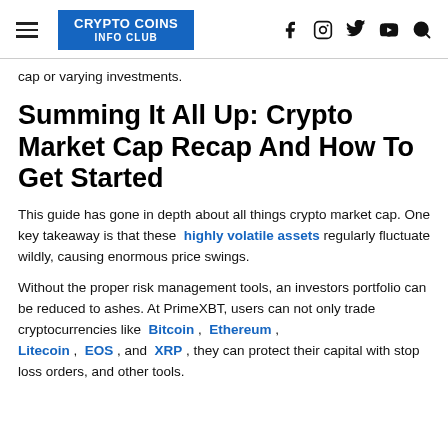CRYPTO COINS INFO CLUB
cap or varying investments.
Summing It All Up: Crypto Market Cap Recap And How To Get Started
This guide has gone in depth about all things crypto market cap. One key takeaway is that these highly volatile assets regularly fluctuate wildly, causing enormous price swings.
Without the proper risk management tools, an investors portfolio can be reduced to ashes. At PrimeXBT, users can not only trade cryptocurrencies like Bitcoin, Ethereum, Litecoin, EOS, and XRP, they can protect their capital with stop loss orders, and other tools.